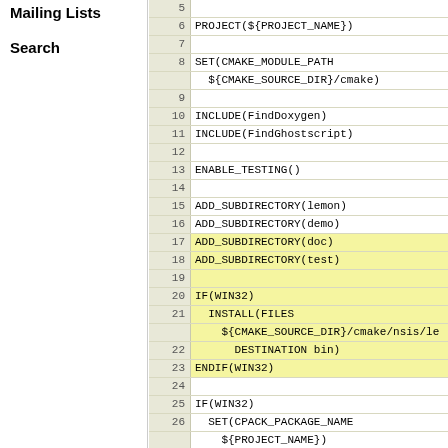Mailing Lists
Search
[Figure (screenshot): CMakeLists.txt code viewer showing lines 5-30 of a CMake build script for the LEMON library project. Lines include PROJECT, SET, INCLUDE, ENABLE_TESTING, ADD_SUBDIRECTORY, IF/ENDIF blocks, and CPACK package configuration. Lines 17-18 and 20-23 are highlighted in yellow.]